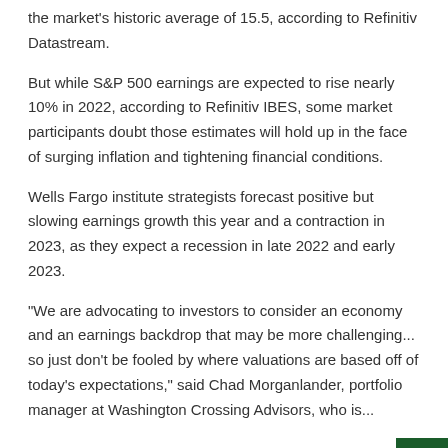the market's historic average of 15.5, according to Refinitiv Datastream.
But while S&P 500 earnings are expected to rise nearly 10% in 2022, according to Refinitiv IBES, some market participants doubt those estimates will hold up in the face of surging inflation and tightening financial conditions.
Wells Fargo institute strategists forecast positive but slowing earnings growth this year and a contraction in 2023, as they expect a recession in late 2022 and early 2023.
"We are advocating to investors to consider an economy and an earnings backdrop that may be more challenging... so just don't be fooled by where valuations are based off of today's expectations," said Chad Morganlander, portfolio manager at Washington Crossing Advisors, who is...